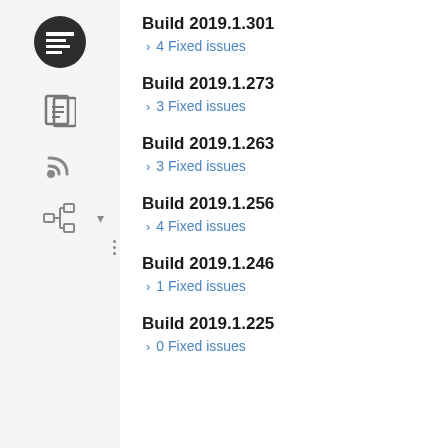[Figure (screenshot): Left sidebar navigation with logo icon, document icon, RSS icon, tree/hierarchy icon, settings gear icon, and chevron expand icon]
Build 2019.1.301
4 Fixed issues
Build 2019.1.273
3 Fixed issues
Build 2019.1.263
3 Fixed issues
Build 2019.1.256
4 Fixed issues
Build 2019.1.246
1 Fixed issues
Build 2019.1.225
0 Fixed issues